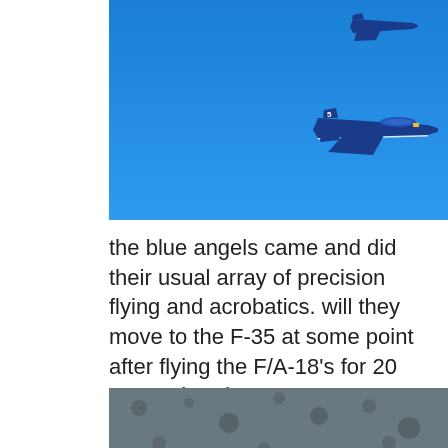[Figure (photo): Blue Angels jet aircraft flying against a bright blue sky, with one large jet in the center-right and a smaller jet visible in the upper right corner, leaving a white vapor trail]
the blue angels came and did their usual array of precision flying and acrobatics. will they move to the F-35 at some point after flying the F/A-18's for 20 years already?
[Figure (photo): A person in a yellow shirt crouching or crawling near a dark stone or concrete wall, with sand or dirt ground visible]